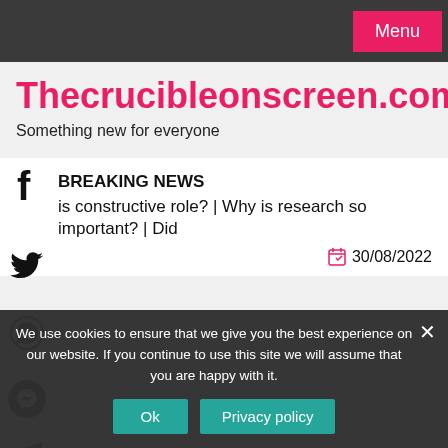Menu
Thecrucibleonscreen.com
Something new for everyone
BREAKING NEWS
is constructive role?  |  Why is research so important?  |  Did
30/08/2022
We use cookies to ensure that we give you the best experience on our website. If you continue to use this site we will assume that you are happy with it.